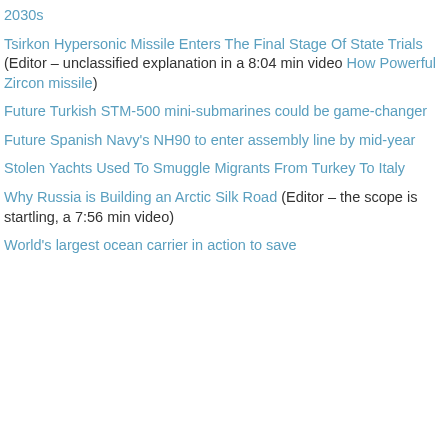2030s
Tsirkon Hypersonic Missile Enters The Final Stage Of State Trials (Editor – unclassified explanation in a 8:04 min video How Powerful Zircon missile)
Future Turkish STM-500 mini-submarines could be game-changer
Future Spanish Navy's NH90 to enter assembly line by mid-year
Stolen Yachts Used To Smuggle Migrants From Turkey To Italy
Why Russia is Building an Arctic Silk Road (Editor – the scope is startling, a 7:56 min video)
World's largest ocean carrier in action to save